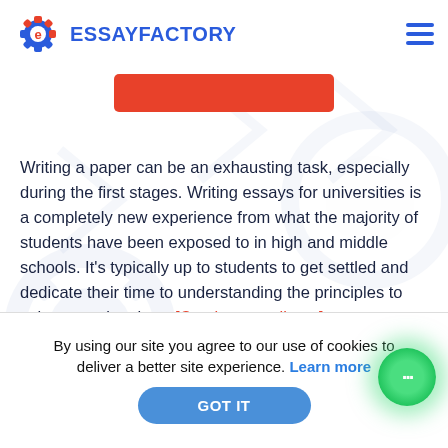ESSAYFACTORY
[Figure (logo): EssayFactory logo: gear icon in red/blue with text ESSAYFACTORY in blue, and hamburger menu icon on right]
[Figure (other): Orange/red rectangular button partially visible]
Writing a paper can be an exhausting task, especially during the first stages. Writing essays for universities is a completely new experience from what the majority of students have been exposed to in high and middle schools. It's typically up to students to get settled and dedicate their time to understanding the principles to write a good review. [Continue reading...]
By using our site you agree to our use of cookies to deliver a better site experience. Learn more
GOT IT